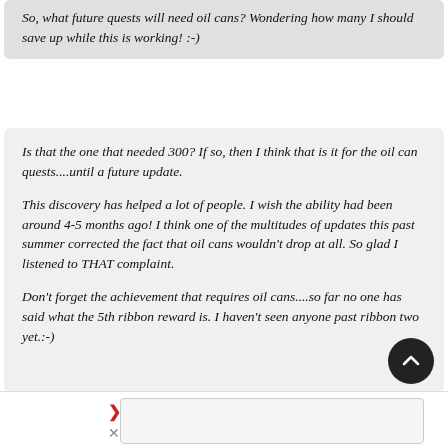So, what future quests will need oil cans? Wondering how many I should save up while this is working! :-)
Is that the one that needed 300? If so, then I think that is it for the oil can quests....until a future update.

This discovery has helped a lot of people. I wish the ability had been around 4-5 months ago! I think one of the multitudes of updates this past summer corrected the fact that oil cans wouldn't drop at all. So glad I listened to THAT complaint.

Don't forget the achievement that requires oil cans....so far no one has said what the 5th ribbon reward is. I haven't seen anyone past ribbon two yet.:-)